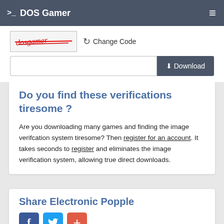>_ DOS Gamer
[Figure (screenshot): Captcha image with distorted text and red strikethrough lines]
Change Code
Download button with input field
Do you find these verifications tiresome ?
Are you downloading many games and finding the image verifcation system tiresome? Then register for an account. It takes seconds to register and eliminates the image verification system, allowing true direct downloads.
Share Electronic Popple
[Figure (infographic): Social share buttons: Facebook (blue), Twitter (light blue), Add/Plus (red-orange)]